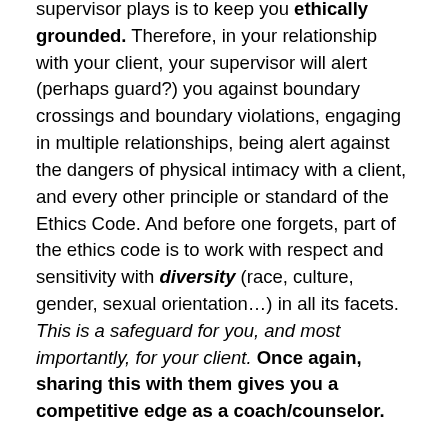supervisor plays is to keep you ethically grounded. Therefore, in your relationship with your client, your supervisor will alert (perhaps guard?) you against boundary crossings and boundary violations, engaging in multiple relationships, being alert against the dangers of physical intimacy with a client, and every other principle or standard of the Ethics Code. And before one forgets, part of the ethics code is to work with respect and sensitivity with diversity (race, culture, gender, sexual orientation…) in all its facets. This is a safeguard for you, and most importantly, for your client. Once again, sharing this with them gives you a competitive edge as a coach/counselor.
Your own development as a coach/counselor is based on your personal values and strengths. Your supervisor is your strongest supporter in your own development. S/he